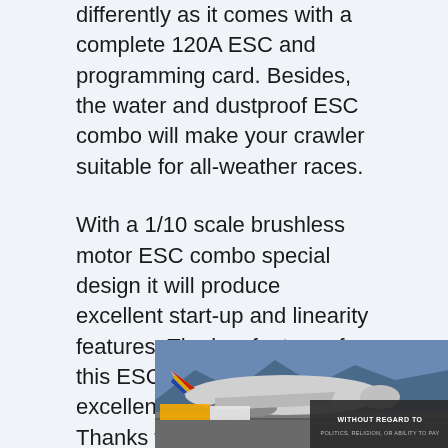differently as it comes with a complete 120A ESC and programming card. Besides, the water and dustproof ESC combo will make your crawler suitable for all-weather races.
With a 1/10 scale brushless motor ESC combo special design it will produce excellent start-up and linearity features. The key feature of this ESC combo is it offers excellent heat dissipation. Thanks to the strong resistant current capability that makes it happen.
With its multi-protection feature, the ESC combo is one of the most durable motors you
[Figure (photo): Cargo airplane on tarmac being loaded, with an advertisement overlay reading 'WITHOUT REGARD TO' in white text on dark background.]